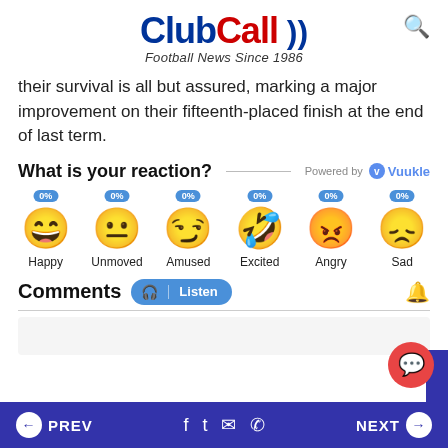ClubCall - Football News Since 1986
their survival is all but assured, marking a major improvement on their fifteenth-placed finish at the end of last term.
What is your reaction?
[Figure (infographic): Reaction emoji row: Happy 0%, Unmoved 0%, Amused 0%, Excited 0%, Angry 0%, Sad 0%]
Comments
PREV | social icons | NEXT